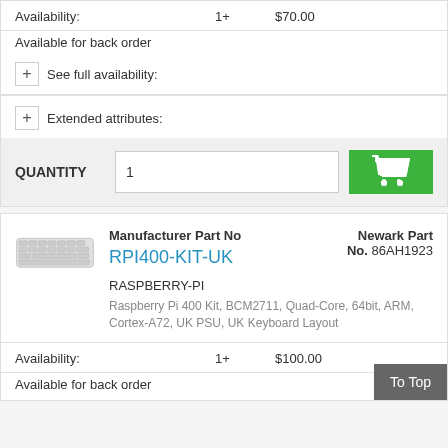Availability: 1+ $70.00
Available for back order
+ See full availability:
+ Extended attributes:
QUANTITY 1
Manufacturer Part No RPI400-KIT-UK
Newark Part No. 86AH1923
RASPBERRY-PI
Raspberry Pi 400 Kit, BCM2711, Quad-Core, 64bit, ARM, Cortex-A72, UK PSU, UK Keyboard Layout
Availability: 1+ $100.00
Available for back order
To Top